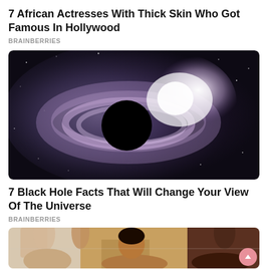7 African Actresses With Thick Skin Who Got Famous In Hollywood
BRAINBERRIES
[Figure (photo): Artistic rendering of a black hole with glowing accretion disk and surrounding stars in deep space]
7 Black Hole Facts That Will Change Your View Of The Universe
BRAINBERRIES
[Figure (photo): Photo of women posing with arms raised, showing different skin tones, wearing minimal clothing]